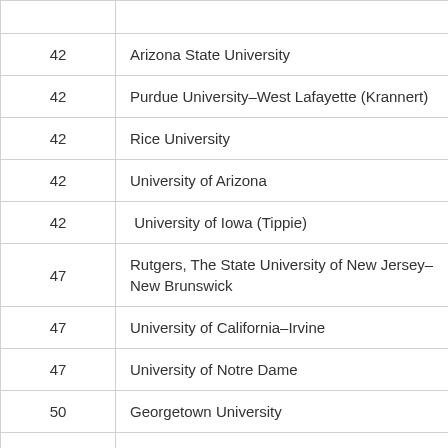| Rank | University |
| --- | --- |
| 42 | Arizona State University |
| 42 | Purdue University–West Lafayette (Krannert) |
| 42 | Rice University |
| 42 | University of Arizona |
| 42 | University of Iowa (Tippie) |
| 47 | Rutgers, The State University of New Jersey–New Brunswick |
| 47 | University of California–Irvine |
| 47 | University of Notre Dame |
| 50 | Georgetown University |
| 50 | Syracuse University |
| 50 | University of Colorado–Boulder |
| 53 | Iowa State University |
| 53 | University of California–Santa Cruz |
| 53 | North Carolina State University–Raleigh |